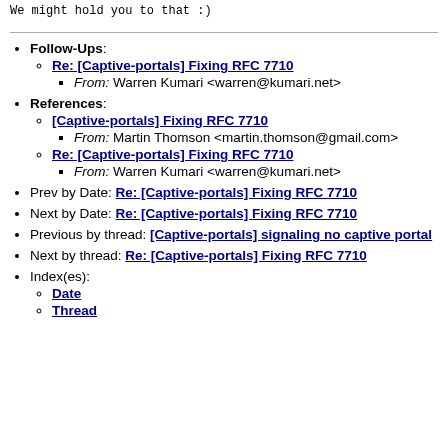We might hold you to that :)
Follow-Ups: Re: [Captive-portals] Fixing RFC 7710 From: Warren Kumari <warren@kumari.net>
References: [Captive-portals] Fixing RFC 7710 From: Martin Thomson <martin.thomson@gmail.com> Re: [Captive-portals] Fixing RFC 7710 From: Warren Kumari <warren@kumari.net>
Prev by Date: Re: [Captive-portals] Fixing RFC 7710
Next by Date: Re: [Captive-portals] Fixing RFC 7710
Previous by thread: [Captive-portals] signaling no captive portal
Next by thread: Re: [Captive-portals] Fixing RFC 7710
Index(es): Date Thread